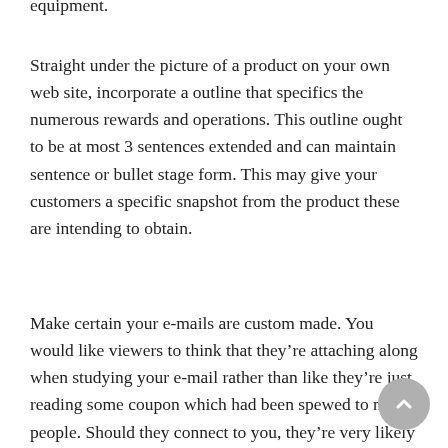equipment.
Straight under the picture of a product on your own web site, incorporate a outline that specifics the numerous rewards and operations. This outline ought to be at most 3 sentences extended and can maintain sentence or bullet stage form. This may give your customers a specific snapshot from the product these are intending to obtain.
Make certain your e-mails are custom made. You would like viewers to think that they’re attaching along when studying your e-mail rather than like they’re just reading some coupon which had been spewed to many people. Should they connect to you, they’re very likely to keep in mind you and provide you